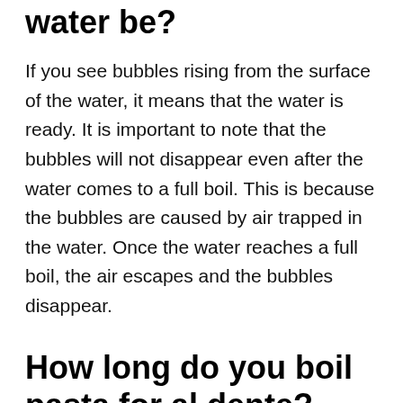water be?
If you see bubbles rising from the surface of the water, it means that the water is ready. It is important to note that the bubbles will not disappear even after the water comes to a full boil. This is because the bubbles are caused by air trapped in the water. Once the water reaches a full boil, the air escapes and the bubbles disappear.
How long do you boil pasta for al dente?
Boiling pasta is a great way to get rid of extra starch from the pasta. It helps prevent the pasta